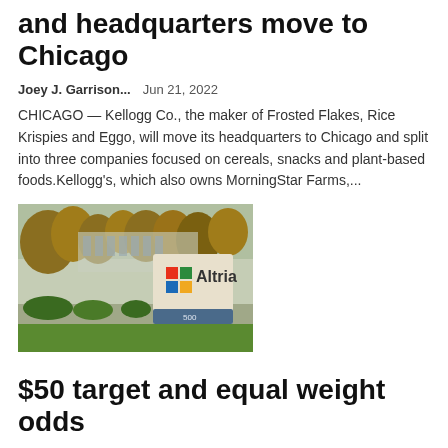and headquarters move to Chicago
Joey J. Garrison...    Jun 21, 2022
CHICAGO — Kellogg Co., the maker of Frosted Flakes, Rice Krispies and Eggo, will move its headquarters to Chicago and split into three companies focused on cereals, snacks and plant-based foods.Kellogg's, which also owns MorningStar Farms,...
[Figure (photo): Outdoor photo of the Altria company sign in front of a building with trees in the background]
$50 target and equal weight odds